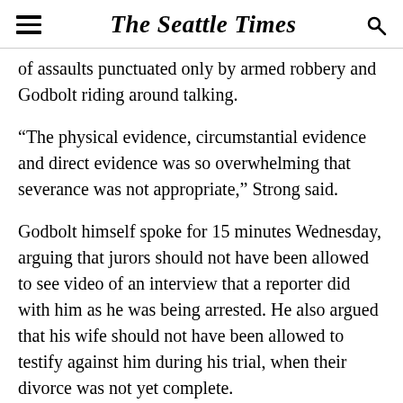The Seattle Times
of assaults punctuated only by armed robbery and Godbolt riding around talking.
“The physical evidence, circumstantial evidence and direct evidence was so overwhelming that severance was not appropriate,” Strong said.
Godbolt himself spoke for 15 minutes Wednesday, arguing that jurors should not have been allowed to see video of an interview that a reporter did with him as he was being arrested. He also argued that his wife should not have been allowed to testify against him during his trial, when their divorce was not yet complete.
Strong said that based on oral arguments, he would